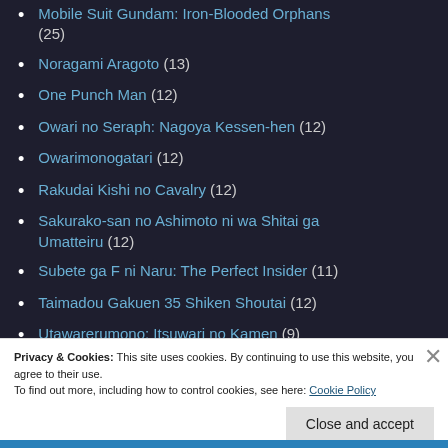Mobile Suit Gundam: Iron-Blooded Orphans (25)
Noragami Aragoto (13)
One Punch Man (12)
Owari no Seraph: Nagoya Kessen-hen (12)
Owarimonogatari (12)
Rakudai Kishi no Cavalry (12)
Sakurako-san no Ashimoto ni wa Shitai ga Umatteiru (12)
Subete ga F ni Naru: The Perfect Insider (11)
Taimadou Gakuen 35 Shiken Shoutai (12)
Utawarerumono: Itsuwari no Kamen (9)
Privacy & Cookies: This site uses cookies. By continuing to use this website, you agree to their use. To find out more, including how to control cookies, see here: Cookie Policy
Close and accept